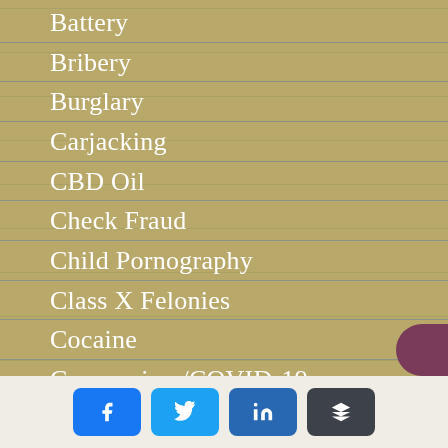Battery
Bribery
Burglary
Carjacking
CBD Oil
Check Fraud
Child Pornography
Class X Felonies
Cocaine
Coronavirus/COVID-19